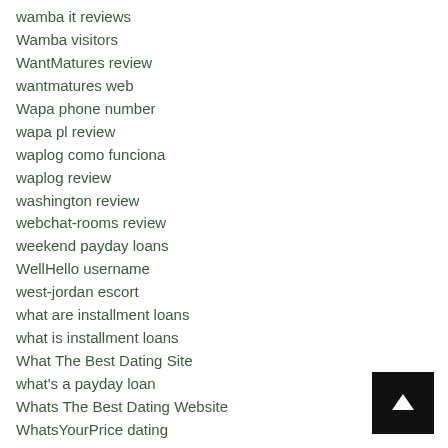wamba it reviews
Wamba visitors
WantMatures review
wantmatures web
Wapa phone number
wapa pl review
waplog como funciona
waplog review
washington review
webchat-rooms review
weekend payday loans
WellHello username
west-jordan escort
what are installment loans
what is installment loans
What The Best Dating Site
what's a payday loan
Whats The Best Dating Website
WhatsYourPrice dating
[Figure (other): Black square button with white upward arrow (scroll-to-top button)]